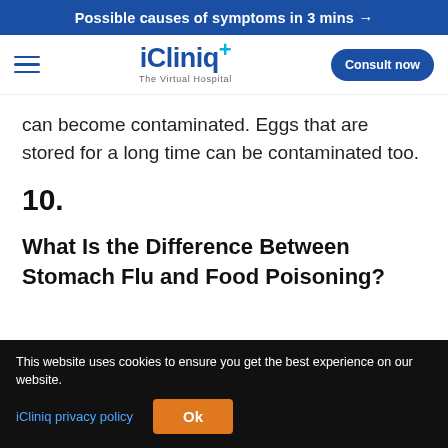Possible causes of symptoms in 3 mins →
[Figure (logo): iCliniq+ The Virtual Hospital logo with hamburger menu and Consult now button]
can become contaminated. Eggs that are stored for a long time can be contaminated too.
10.
What Is the Difference Between Stomach Flu and Food Poisoning?
This website uses cookies to ensure you get the best experience on our website.
iCliniq privacy policy  Ok